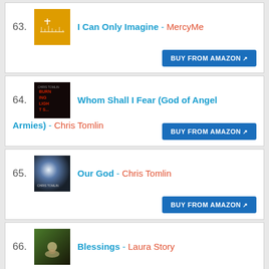63. I Can Only Imagine - MercyMe
64. Whom Shall I Fear (God of Angel Armies) - Chris Tomlin
65. Our God - Chris Tomlin
66. Blessings - Laura Story